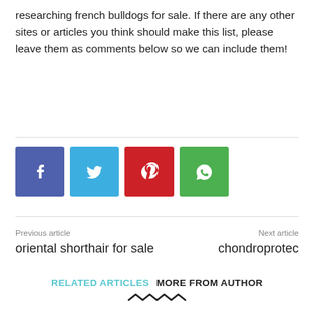researching french bulldogs for sale. If there are any other sites or articles you think should make this list, please leave them as comments below so we can include them!
[Figure (other): Social media share buttons: Facebook (blue), Twitter (light blue), Pinterest (red), WhatsApp (green)]
Previous article
oriental shorthair for sale
Next article
chondroprotec
RELATED ARTICLES   MORE FROM AUTHOR